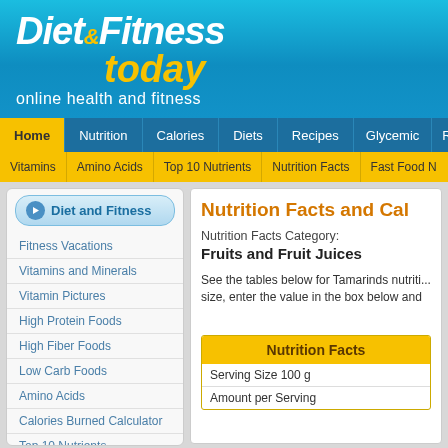Diet & Fitness today
online health and fitness
Home | Nutrition | Calories | Diets | Recipes | Glycemic | R
Vitamins | Amino Acids | Top 10 Nutrients | Nutrition Facts | Fast Food N
Diet and Fitness
Fitness Vacations
Vitamins and Minerals
Vitamin Pictures
High Protein Foods
High Fiber Foods
Low Carb Foods
Amino Acids
Calories Burned Calculator
Top 10 Nutrients
Nutrition Facts
Food sorted by nutrients
Nutrition Facts and Cal
Nutrition Facts Category:
Fruits and Fruit Juices
See the tables below for Tamarinds nutriti... size, enter the value in the box below and
| Nutrition Facts |
| --- |
| Serving Size 100 g |
| Amount per Serving |